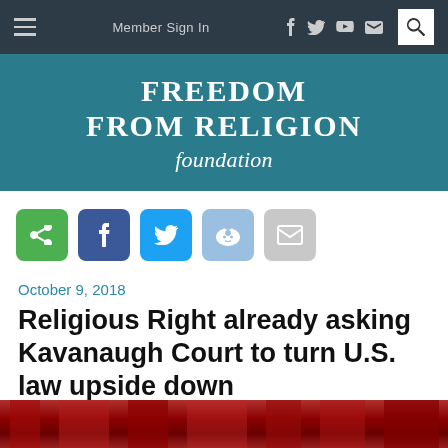Member Sign In
[Figure (logo): Freedom From Religion Foundation logo on teal background with white uppercase serif text]
[Figure (infographic): Row of social share buttons: green share, blue Facebook, light blue Twitter, light blue Reddit, gray email]
October 9, 2018
Religious Right already asking Kavanaugh Court to turn U.S. law upside down
[Figure (photo): Partial view of a photo showing red curtains or robes at the bottom of the page]